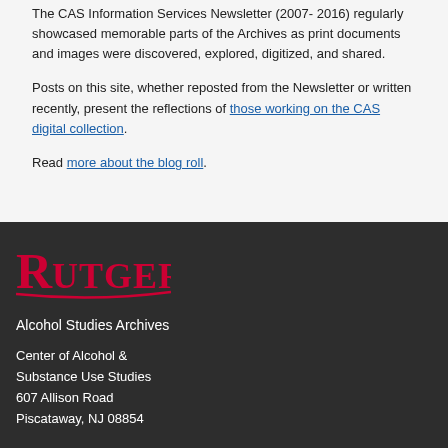The CAS Information Services Newsletter (2007- 2016) regularly showcased memorable parts of the Archives as print documents and images were discovered, explored, digitized, and shared.
Posts on this site, whether reposted from the Newsletter or written recently, present the reflections of those working on the CAS digital collection.
Read more about the blog roll.
[Figure (logo): Rutgers University wordmark logo in red on dark background]
Alcohol Studies Archives
Center of Alcohol & Substance Use Studies
607 Allison Road
Piscataway, NJ 08854